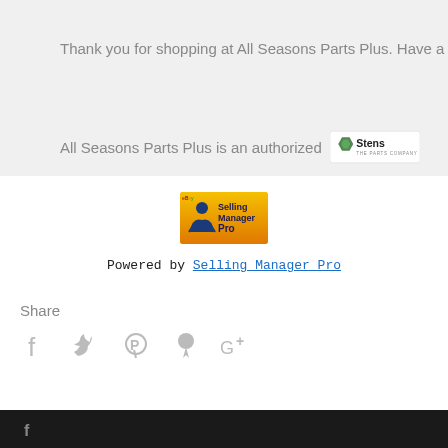Thank you for shopping at All Seasons Parts Plus. Have a
All Seasons Parts Plus is an authorized [Stens logo]
[Figure (logo): Selling Manager Pro logo — orange and yellow badge with a blue figure and text 'Selling Manager Pro']
Powered by Selling Manager Pro
Share
[Figure (infographic): Social share icons: Facebook, Twitter, Pinterest, Fancy, Google+]
Facebook icon in footer bar